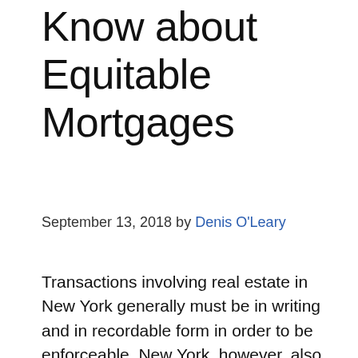Know about Equitable Mortgages
September 13, 2018 by Denis O'Leary
Transactions involving real estate in New York generally must be in writing and in recordable form in order to be enforceable. New York, however, also recognizes the long-standing equitable principle which allows lenders, in certain circumstances, to claim a right to what is known as an “equitable mortgage.” The